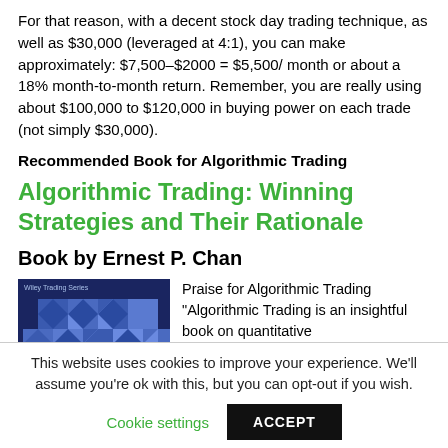For that reason, with a decent stock day trading technique, as well as $30,000 (leveraged at 4:1), you can make approximately: $7,500–$2000 = $5,500/ month or about a 18% month-to-month return. Remember, you are really using about $100,000 to $120,000 in buying power on each trade (not simply $30,000).
Recommended Book for Algorithmic Trading
Algorithmic Trading: Winning Strategies and Their Rationale
Book by Ernest P. Chan
[Figure (photo): Book cover of Algorithmic Trading: Winning Strategies and Their Rationale, Wiley Trading Series, showing a blue geometric pattern]
Praise for Algorithmic Trading "Algorithmic Trading is an insightful book on quantitative
This website uses cookies to improve your experience. We'll assume you're ok with this, but you can opt-out if you wish.
Cookie settings   ACCEPT